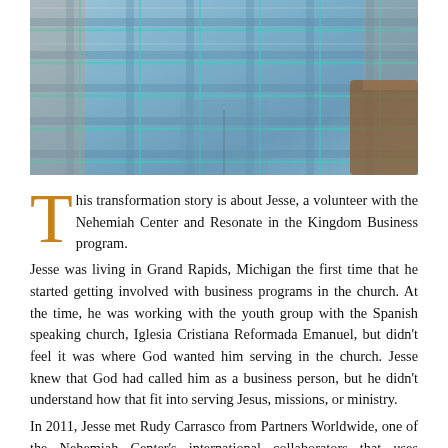[Figure (photo): Close-up photo of a person wearing a blue and teal plaid short-sleeve shirt, seated. Only the torso and part of a wooden chair arm are visible.]
This transformation story is about Jesse, a volunteer with the Nehemiah Center and Resonate in the Kingdom Business program. Jesse was living in Grand Rapids, Michigan the first time that he started getting involved with business programs in the church. At the time, he was working with the youth group with the Spanish speaking church, Iglesia Cristiana Reformada Emanuel, but didn't feel it was where God wanted him serving in the church. Jesse knew that God had called him as a business person, but he didn't understand how that fit into serving Jesus, missions, or ministry. In 2011, Jesse met Rudy Carrasco from Partners Worldwide, one of the Nehemiah Center's international collaborators that uses Business Curriculums as a way to bring sustainability